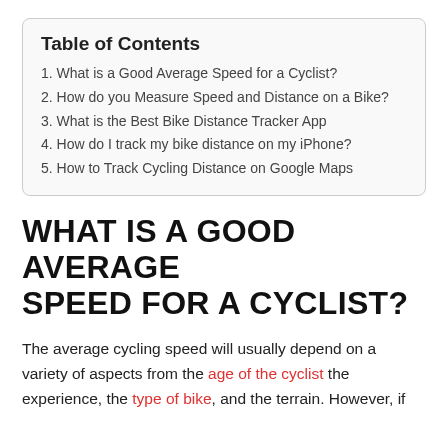| Table of Contents |
| --- |
| 1. What is a Good Average Speed for a Cyclist? |
| 2. How do you Measure Speed and Distance on a Bike? |
| 3. What is the Best Bike Distance Tracker App |
| 4. How do I track my bike distance on my iPhone? |
| 5. How to Track Cycling Distance on Google Maps |
WHAT IS A GOOD AVERAGE SPEED FOR A CYCLIST?
The average cycling speed will usually depend on a variety of aspects from the age of the cyclist the experience, the type of bike, and the terrain. However, if